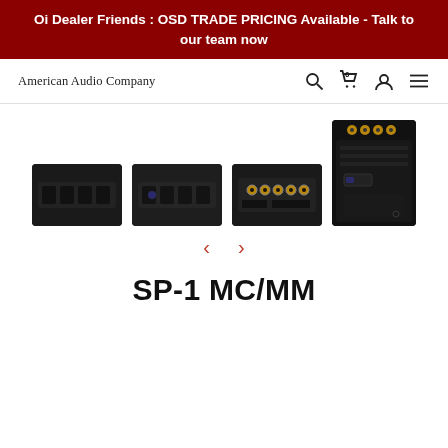Oi Dealer Friends : OSD TRADE PRICING Available - Talk to our team now
[Figure (screenshot): American Audio Company website navigation bar with logo, search icon, cart icon (0), user icon, and hamburger menu icon]
[Figure (photo): Four product images of OSD SP-1 MC/MM phono preamplifier: front view (black unit), second front view, rear view with RCA connectors, and side/top view]
< >
SP-1 MC/MM